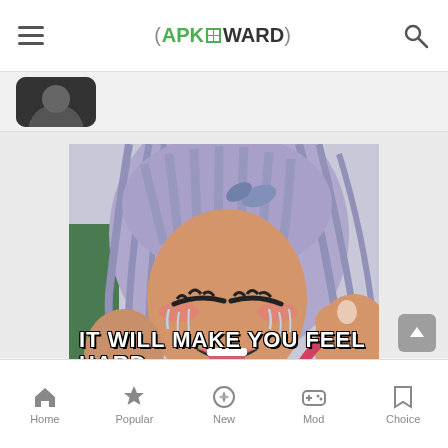APKaWARD navigation header with hamburger menu, logo, and search icon
[Figure (illustration): Partially visible profile avatar (dark circular image) peeking from below nav bar]
[Figure (photo): Anime character with light purple/blue hair, closed eyes, blushing, mouth open, crying expression, with overlay text 'IT WILL MAKE YOU FEEL HARD']
Home | Popular | New | Mod | Choice